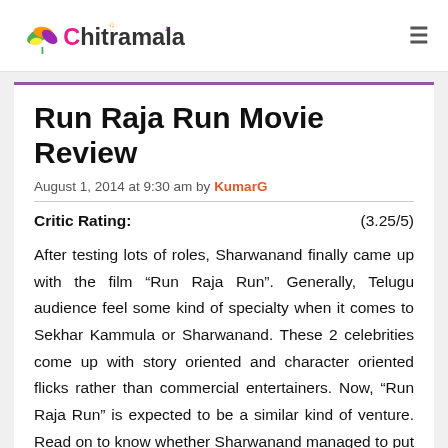Chitramala
Run Raja Run Movie Review
August 1, 2014 at 9:30 am by KumarG
Critic Rating: (3.25/5)
After testing lots of roles, Sharwanand finally came up with the film “Run Raja Run”. Generally, Telugu audience feel some kind of specialty when it comes to Sekhar Kammula or Sharwanand. These 2 celebrities come up with story oriented and character oriented flicks rather than commercial entertainers. Now, “Run Raja Run” is expected to be a similar kind of venture. Read on to know whether Sharwanand managed to put his brand once again on the flick or